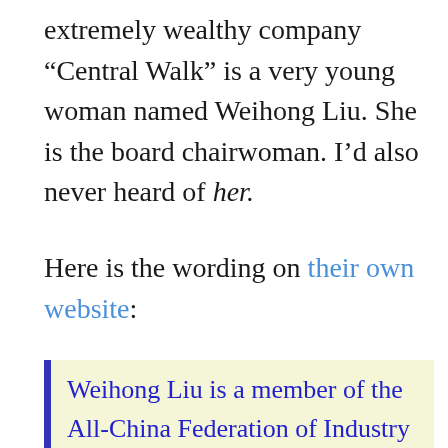extremely wealthy company “Central Walk” is a very young woman named Weihong Liu. She is the board chairwoman. I’d also never heard of her.
Here is the wording on their own website:
Weihong Liu is a member of the All-China Federation of Industry & Commerce and the Provincial Congress of Political Consultation; she